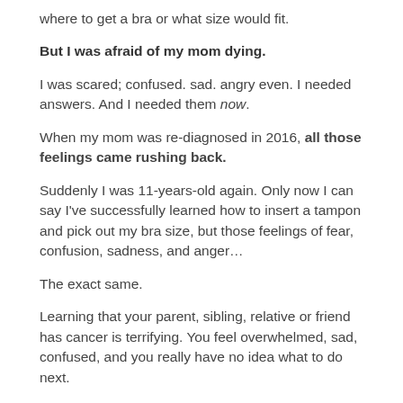where to get a bra or what size would fit.
But I was afraid of my mom dying.
I was scared; confused. sad. angry even. I needed answers. And I needed them now.
When my mom was re-diagnosed in 2016, all those feelings came rushing back.
Suddenly I was 11-years-old again. Only now I can say I've successfully learned how to insert a tampon and pick out my bra size, but those feelings of fear, confusion, sadness, and anger…
The exact same.
Learning that your parent, sibling, relative or friend has cancer is terrifying. You feel overwhelmed, sad, confused, and you really have no idea what to do next.
Based on my personal experience, these are five